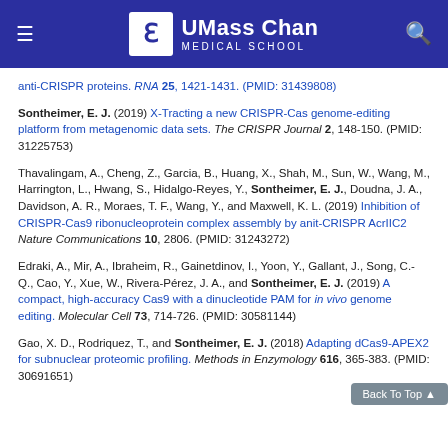UMass Chan Medical School
anti-CRISPR proteins. RNA 25, 1421-1431. (PMID: 31439808)
Sontheimer, E. J. (2019) X-Tracting a new CRISPR-Cas genome-editing platform from metagenomic data sets. The CRISPR Journal 2, 148-150. (PMID: 31225753)
Thavalingam, A., Cheng, Z., Garcia, B., Huang, X., Shah, M., Sun, W., Wang, M., Harrington, L., Hwang, S., Hidalgo-Reyes, Y., Sontheimer, E. J., Doudna, J. A., Davidson, A. R., Moraes, T. F., Wang, Y., and Maxwell, K. L. (2019) Inhibition of CRISPR-Cas9 ribonucleoprotein complex assembly by anit-CRISPR AcrIIC2 Nature Communications 10, 2806. (PMID: 31243272)
Edraki, A., Mir, A., Ibraheim, R., Gainetdinov, I., Yoon, Y., Gallant, J., Song, C.-Q., Cao, Y., Xue, W., Rivera-Pérez, J. A., and Sontheimer, E. J. (2019) A compact, high-accuracy Cas9 with a dinucleotide PAM for in vivo genome editing. Molecular Cell 73, 714-726. (PMID: 30581144)
Gao, X. D., Rodriquez, T., and Sontheimer, E. J. (2018) Adapting dCas9-APEX2 for subnuclear proteomic profiling. Methods in Enzymology 616, 365-383. (PMID: 30691651)